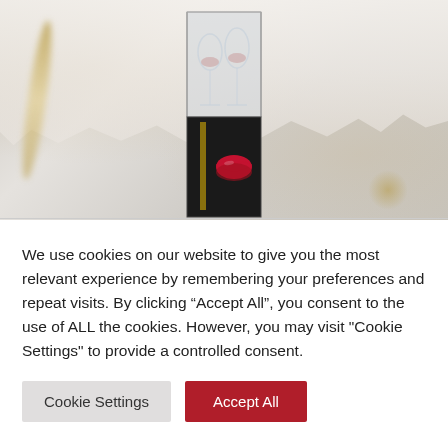[Figure (photo): A wine glass gift box product photo on a marble/stone textured background with gold decorative streaks. The box is tall and narrow, with a clear upper section showing two wine glasses and a black branded lower section with a red lips logo design.]
We use cookies on our website to give you the most relevant experience by remembering your preferences and repeat visits. By clicking “Accept All”, you consent to the use of ALL the cookies. However, you may visit "Cookie Settings" to provide a controlled consent.
Cookie Settings
Accept All